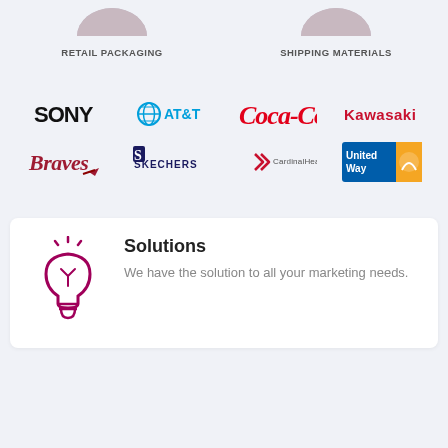RETAIL PACKAGING
SHIPPING MATERIALS
[Figure (logo): Sony logo]
[Figure (logo): AT&T logo with globe icon]
[Figure (logo): Coca-Cola logo in red script]
[Figure (logo): Kawasaki logo in red]
[Figure (logo): Atlanta Braves logo]
[Figure (logo): Skechers logo]
[Figure (logo): Cardinal Health logo]
[Figure (logo): United Way logo]
Solutions
We have the solution to all your marketing needs.